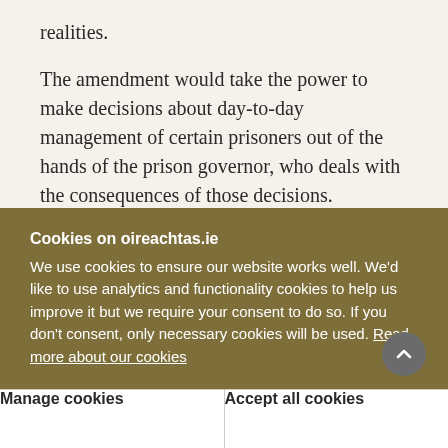realities.

The amendment would take the power to make decisions about day-to-day management of certain prisoners out of the hands of the prison governor, who deals with the consequences of those decisions. Ultimately, the governor and the Prison Service are best placed to make the final decisions on such matters. It is not the intention or practice of the Prison Service to ignore recommendations of the Parole Board. The governors and the Prison Service
Cookies on oireachtas.ie
We use cookies to ensure our website works well. We'd like to use analytics and functionality cookies to help us improve it but we require your consent to do so. If you don't consent, only necessary cookies will be used. Read more about our cookies
Manage cookies
Accept all cookies